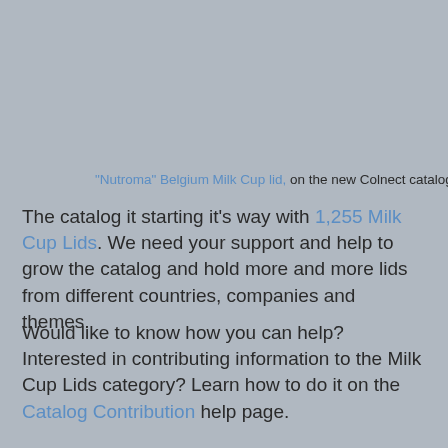"Nutroma" Belgium Milk Cup lid, on the new Colnect catalog.
The catalog it starting it's way with 1,255 Milk Cup Lids. We need your support and help to grow the catalog and hold more and more lids from different countries, companies and themes.
Would like to know how you can help? Interested in contributing information to the Milk Cup Lids category? Learn how to do it on the Catalog Contribution help page.